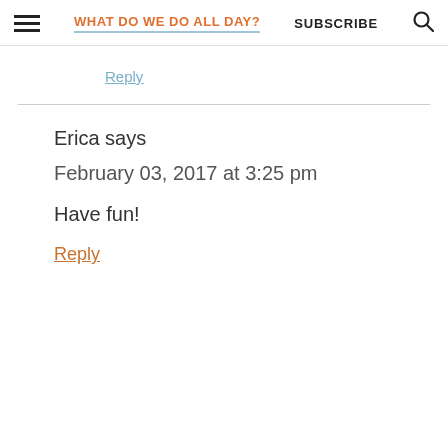WHAT DO WE DO ALL DAY? | SUBSCRIBE
Reply
Erica says
February 03, 2017 at 3:25 pm
Have fun!
Reply